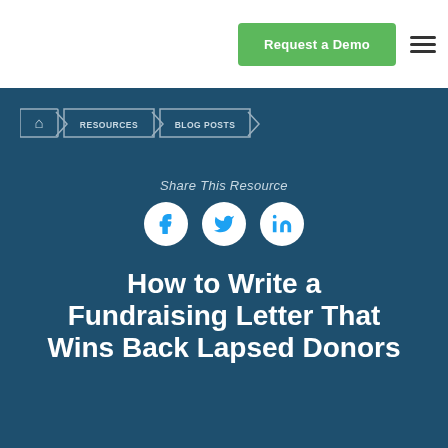Request a Demo
[Figure (screenshot): Breadcrumb navigation showing home icon, RESOURCES, and BLOG POSTS on dark teal background]
Share This Resource
[Figure (infographic): Social share icons: Facebook, Twitter, LinkedIn in white circles]
How to Write a Fundraising Letter That Wins Back Lapsed Donors